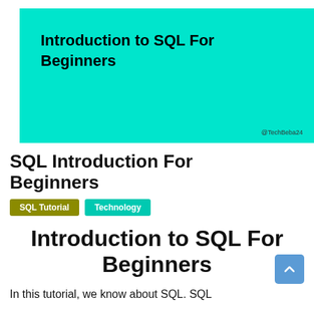[Figure (illustration): Cyan/turquoise banner with bold text 'Introduction to SQL For Beginners' and watermark '@TechBeba24' at bottom right]
SQL Introduction For Beginners
SQL Tutorial
Technology
Introduction to SQL For Beginners
In this tutorial, we know about SQL. SQL